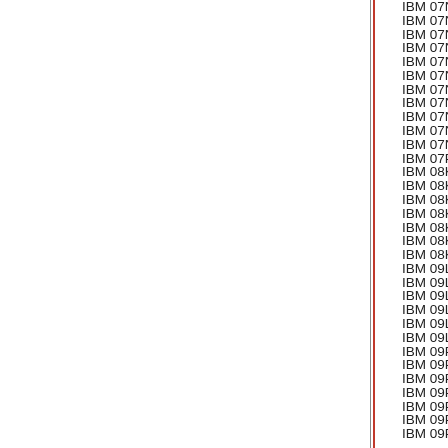IBM 07N3776 18.2GB
IBM 07N3811 18.2GB
IBM 07N3840 18.2GB
IBM 07N4813 18.2GB
IBM 07N5315 9,1GB 1
IBM 07N6344 36,4GB
IBM 07N6353 18.2GB
IBM 07N7070 36,4GB
IBM 07N7435 20GB 2
IBM 07N8793 18.2GB
IBM 07N8819 73.4GB
IBM 07P3174 18.2GB
IBM 08K0264 8.58GB
IBM 08K0283 73,4GB
IBM 08K0293 36.4GB
IBM 08K0294 35.16GB
IBM 08K0294 35.16GB
IBM 08K0393 18.2GB
IBM 08K9606 FDD AS
IBM 09L1550 36.4GB
IBM 09L2209 9,1 GB S
IBM 09L2213 9,1 GB S
IBM 09L3908 9,1 GB U
IBM 09L4044 8.58GB
IBM 09L4056 IBM 18.2
IBM 09P3196 10/100 M
IBM 09P3923 36,4GB
IBM 09P3935 1024 MB
IBM 09P4428 18.2GB
IBM 09P4429 18.2GB
IBM 09P4434 18GB 10
IBM 09P4435 18.2GB